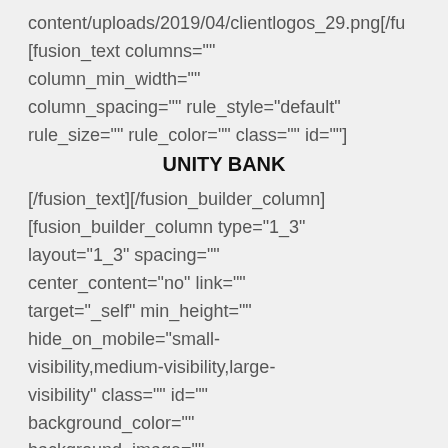content/uploads/2019/04/clientlogos_29.png[/fu [fusion_text columns="" column_min_width="" column_spacing="" rule_style="default" rule_size="" rule_color="" class="" id=""]
UNITY BANK
[/fusion_text][/fusion_builder_column] [fusion_builder_column type="1_3" layout="1_3" spacing="" center_content="no" link="" target="_self" min_height="" hide_on_mobile="small-visibility,medium-visibility,large-visibility" class="" id="" background_color="" background_image=""